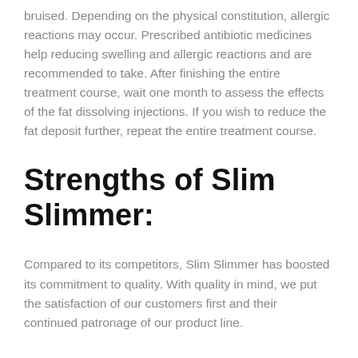bruised. Depending on the physical constitution, allergic reactions may occur. Prescribed antibiotic medicines help reducing swelling and allergic reactions and are recommended to take. After finishing the entire treatment course, wait one month to assess the effects of the fat dissolving injections. If you wish to reduce the fat deposit further, repeat the entire treatment course.
Strengths of Slim Slimmer:
Compared to its competitors, Slim Slimmer has boosted its commitment to quality. With quality in mind, we put the satisfaction of our customers first and their continued patronage of our product line.
Volume reduction is fast.